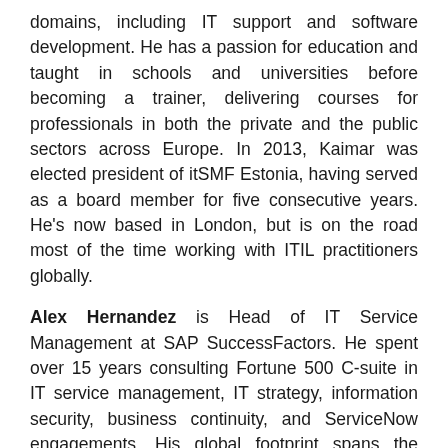domains, including IT support and software development. He has a passion for education and taught in schools and universities before becoming a trainer, delivering courses for professionals in both the private and the public sectors across Europe. In 2013, Kaimar was elected president of itSMF Estonia, having served as a board member for five consecutive years. He's now based in London, but is on the road most of the time working with ITIL practitioners globally.
Alex Hernandez is Head of IT Service Management at SAP SuccessFactors. He spent over 15 years consulting Fortune 500 C-suite in IT service management, IT strategy, information security, business continuity, and ServiceNow engagements. His global footprint spans the technology, media and entertainment, financial services and healthcare industries across Europe, Central and South America, and Asia Pacific including India. Alex was also a reviewer for the CCC Professional Cloud Service Manager syllabus during his time at Accenture, prior to his work as Director